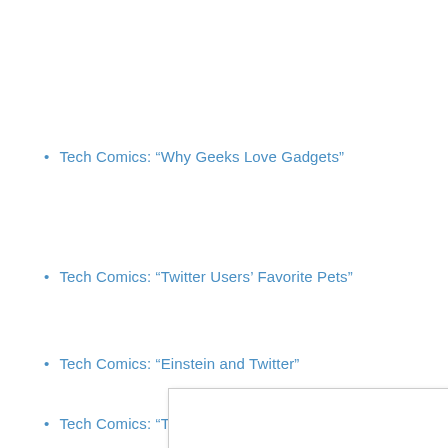Tech Comics: “Why Geeks Love Gadgets”
Tech Comics: “Twitter Users’ Favorite Pets”
Tech Comics: “Einstein and Twitter”
Tech Comics: “The Art of Programming”